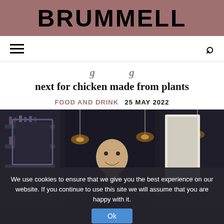BRUMMELL
next for chicken made from plants
FOOD AND DRINK  25 MAY 2022
[Figure (photo): A man smiling in a dimly lit bar with warm pendant lights and shelves of bottles in the background]
We use cookies to ensure that we give you the best experience on our website. If you continue to use this site we will assume that you are happy with it.